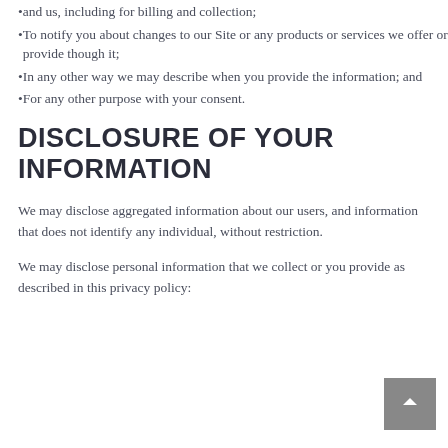and us, including for billing and collection;
To notify you about changes to our Site or any products or services we offer or provide though it;
In any other way we may describe when you provide the information; and
For any other purpose with your consent.
DISCLOSURE OF YOUR INFORMATION
We may disclose aggregated information about our users, and information that does not identify any individual, without restriction.
We may disclose personal information that we collect or you provide as described in this privacy policy: